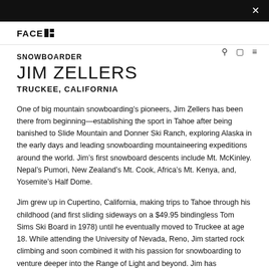×
[Figure (logo): FACE logo with block elements and navigation icons]
SNOWBOARDER
JIM ZELLERS
TRUCKEE, CALIFORNIA
One of big mountain snowboarding's pioneers, Jim Zellers has been there from beginning—establishing the sport in Tahoe after being banished to Slide Mountain and Donner Ski Ranch, exploring Alaska in the early days and leading snowboarding mountaineering expeditions around the world. Jim's first snowboard descents include Mt. McKinley. Nepal's Pumori, New Zealand's Mt. Cook, Africa's Mt. Kenya, and, Yosemite's Half Dome.
Jim grew up in Cupertino, California, making trips to Tahoe through his childhood (and first sliding sideways on a $49.95 bindingless Tom Sims Ski Board in 1978) until he eventually moved to Truckee at age 18. While attending the University of Nevada, Reno, Jim started rock climbing and soon combined it with his passion for snowboarding to venture deeper into the Range of Light and beyond. Jim has